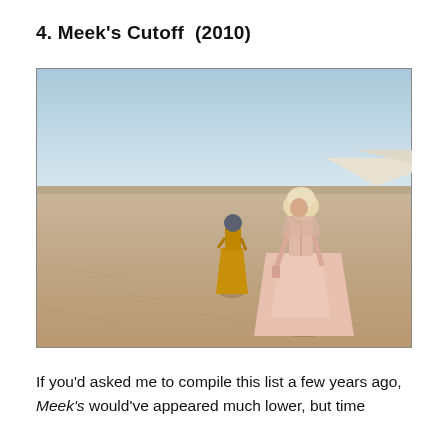4. Meek's Cutoff  (2010)
[Figure (photo): A movie still from Meek's Cutoff (2010) showing two women in period pioneer dresses standing in a vast, flat desert landscape under a pale blue sky. The foreground figure wears a light pink full-length dress and a cream-colored bonnet. The background figure wears a mustard-yellow dress and a dark bonnet, standing farther away. White rocky hills are visible on the right horizon.]
If you'd asked me to compile this list a few years ago, Meek's would've appeared much lower, but time